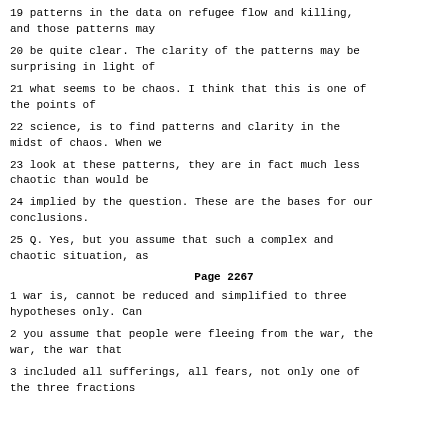19 patterns in the data on refugee flow and killing, and those patterns may
20 be quite clear. The clarity of the patterns may be surprising in light of
21 what seems to be chaos. I think that this is one of the points of
22 science, is to find patterns and clarity in the midst of chaos. When we
23 look at these patterns, they are in fact much less chaotic than would be
24 implied by the question. These are the bases for our conclusions.
25 Q. Yes, but you assume that such a complex and chaotic situation, as
Page 2267
1 war is, cannot be reduced and simplified to three hypotheses only. Can
2 you assume that people were fleeing from the war, the war, the war that
3 included all sufferings, all fears, not only one of the three fractions